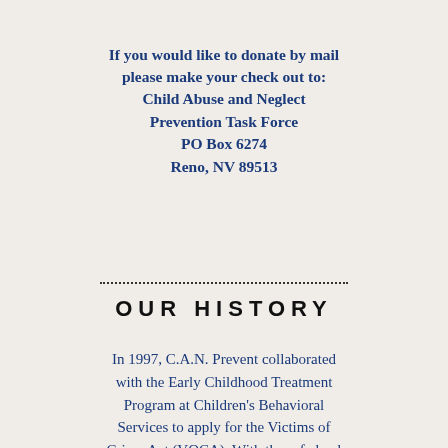If you would like to donate by mail please make your check out to: Child Abuse and Neglect Prevention Task Force PO Box 6274 Reno, NV 89513
OUR HISTORY
In 1997, C.A.N. Prevent collaborated with the Early Childhood Treatment Program at Children's Behavioral Services to apply for the Victims of Crime Act (VOCA). With these federal funds, C.A.N. Prevent created Project Safe